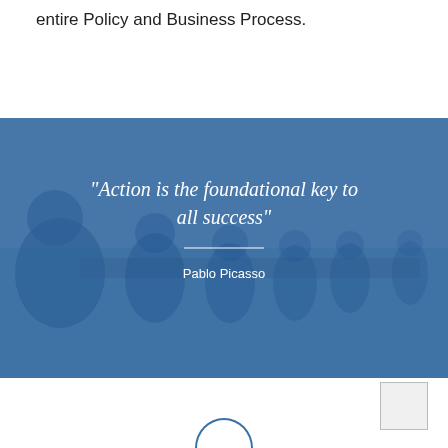entire Policy and Business Process.
[Figure (photo): Photo of people seated at a meeting table in a conference room, overlaid with a blue tint and a motivational quote: 'Action is the foundational key to all success' — Pablo Picasso]
"Action is the foundational key to all success" — Pablo Picasso